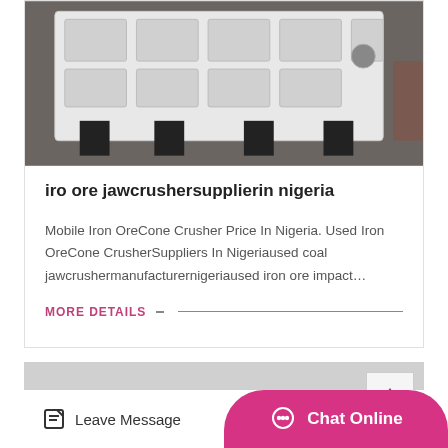[Figure (photo): Photo of a large white industrial jaw crusher machine on black legs in a warehouse/factory floor]
iro ore jawcrushersupplierin nigeria
Mobile Iron OreCone Crusher Price In Nigeria. Used Iron OreCone CrusherSuppliers In Nigeriaused coal jawcrushermanufacturernigeriaused iron ore impact…
MORE DETAILS
[Figure (screenshot): Gray background section with a scroll-to-top button in the upper right corner]
Leave Message
Chat Online